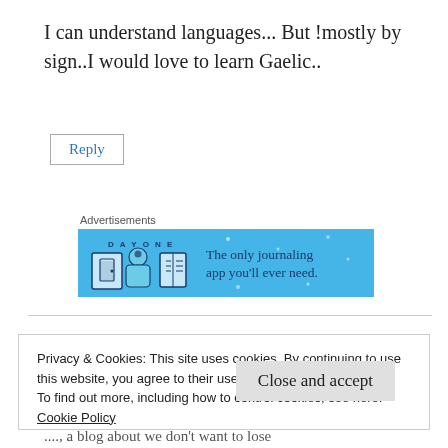I can understand languages... But !mostly by sign..I would love to learn Gaelic..
Reply
Advertisements
[Figure (other): Day One journaling app advertisement banner with blue background, app icons, and text 'The only journaling app you'll ever need.']
Privacy & Cookies: This site uses cookies. By continuing to use this website, you agree to their use.
To find out more, including how to control cookies, see here: Cookie Policy
Close and accept
...., a blog about we don't want to lose